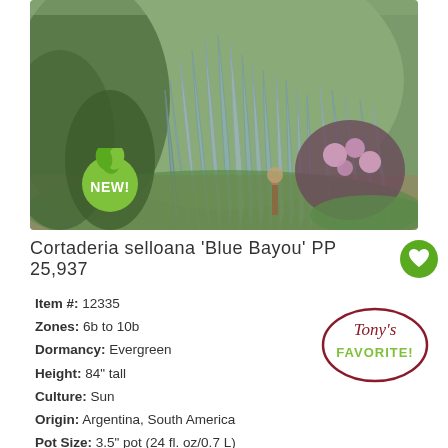[Figure (photo): Tall blue-green ornamental grass (Cortaderia selloana 'Blue Bayou') in a garden setting with pink flowers and shrubs in the background. A 'NEW!' badge with green leaf graphic appears in the lower-left of the photo.]
Cortaderia selloana 'Blue Bayou' PP 25,937
Item #: 12335
Zones: 6b to 10b
Dormancy: Evergreen
Height: 84" tall
Culture: Sun
Origin: Argentina, South America
Pot Size: 3.5" pot (24 fl. oz/0.7 L)
[Figure (illustration): Tony's FAVORITE! badge — dark red oval outline with cursive and uppercase text inside.]